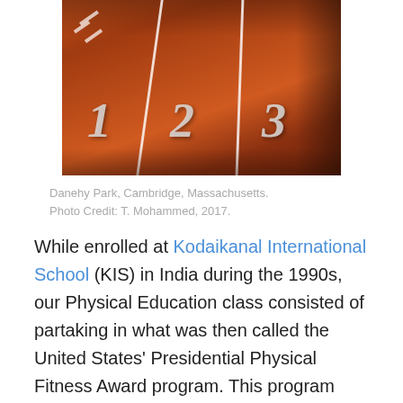[Figure (photo): A red running track showing lanes numbered 1, 2, and 3 with white lane lines and lane numbers. Danehy Park, Cambridge, Massachusetts.]
Danehy Park, Cambridge, Massachusetts.
Photo Credit: T. Mohammed, 2017.
While enrolled at Kodaikanal International School (KIS) in India during the 1990s, our Physical Education class consisted of partaking in what was then called the United States' Presidential Physical Fitness Award program. This program entailed passing various physical tests in strength, agility and conditioning for maintaining an active and healthy lifestyle. Seen below are my awards from the